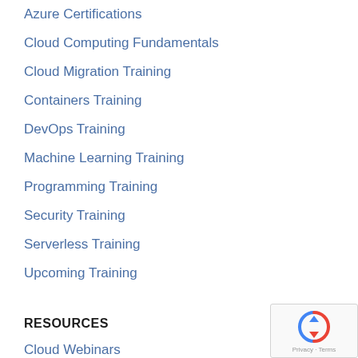Azure Certifications
Cloud Computing Fundamentals
Cloud Migration Training
Containers Training
DevOps Training
Machine Learning Training
Programming Training
Security Training
Serverless Training
Upcoming Training
RESOURCES
Cloud Webinars